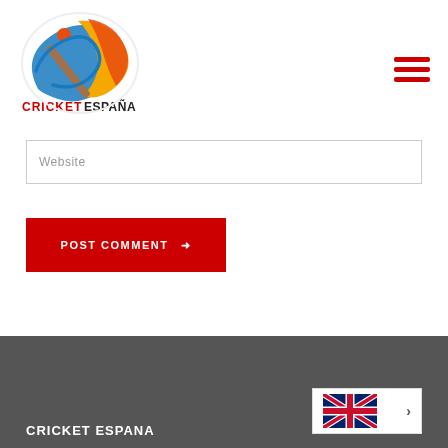[Figure (logo): Cricket España logo with colorful cricket-themed design and text CRICKETESPAÑA]
Website
POST COMMENT →
CRICKET ESPANA
[Figure (other): UK flag language selector with chevron]